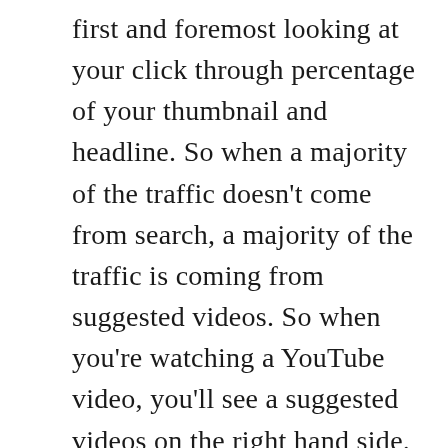first and foremost looking at your click through percentage of your thumbnail and headline. So when a majority of the traffic doesn't come from search, a majority of the traffic is coming from suggested videos. So when you're watching a YouTube video, you'll see a suggested videos on the right hand side. YouTube is measuring what your the effectiveness of your click through percentage is on that thumbnail and headline. And then the secondary metric which is just as important is